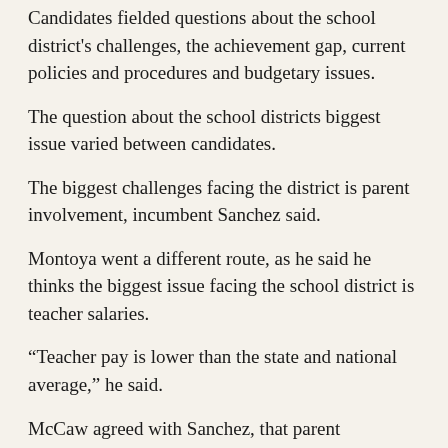Candidates fielded questions about the school district's challenges, the achievement gap, current policies and procedures and budgetary issues.
The question about the school districts biggest issue varied between candidates.
The biggest challenges facing the district is parent involvement, incumbent Sanchez said.
Montoya went a different route, as he said he thinks the biggest issue facing the school district is teacher salaries.
“Teacher pay is lower than the state and national average,” he said.
McCaw agreed with Sanchez, that parent involvement is a major concern.
“I’m advocating for parents and students to get involved in school,” she said. “Education is a privilege.”
Little said he believes truancy is a major issue within the district.